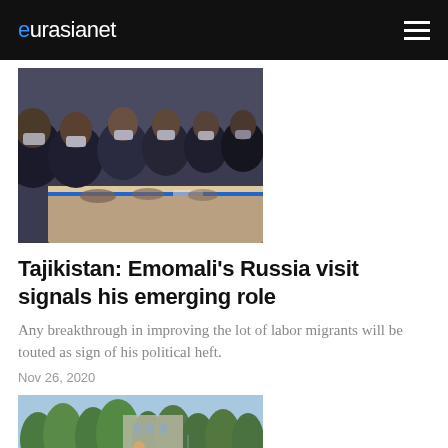eurasianet
[Figure (photo): Group of officials in dark suits and face masks seated at a table during a formal meeting]
Tajikistan: Emomali's Russia visit signals his emerging role
Any breakthrough in improving the lot of labor migrants will be touted as sign of his political heft.
Nov 26, 2020
[Figure (photo): Outdoor scene with people in formation, trees in background, a man in a suit visible]